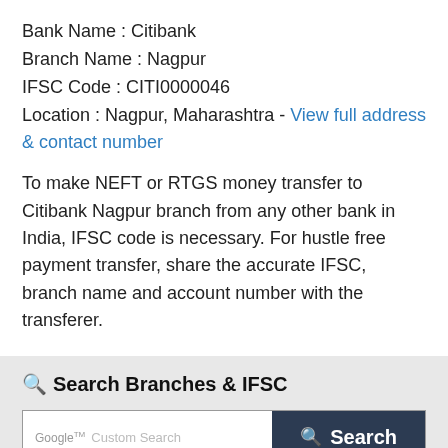Bank Name : Citibank
Branch Name : Nagpur
IFSC Code : CITI0000046
Location : Nagpur, Maharashtra - View full address & contact number
To make NEFT or RTGS money transfer to Citibank Nagpur branch from any other bank in India, IFSC code is necessary. For hustle free payment transfer, share the accurate IFSC, branch name and account number with the transferer.
Search Branches & IFSC